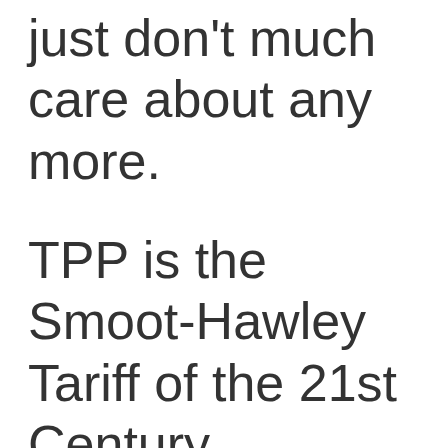just don't much care about any more.
TPP is the Smoot-Hawley Tariff of the 21st Century.